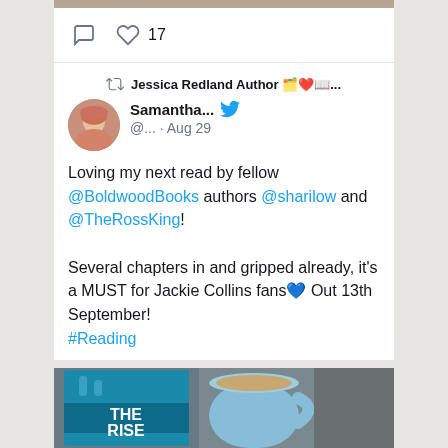[Figure (screenshot): Top strip of a previous tweet/post image, partially visible at top of page]
comment icon  ♡ 17
Jessica Redland Author 🗂️❤️📖...
Samantha... @... · Aug 29
Loving my next read by fellow @BoldwoodBooks authors @sharilow and @TheRossKing!

Several chapters in and gripped already, it's a MUST for Jackie Collins fans💙 Out 13th September!
#Reading
[Figure (photo): Photo of a book titled 'THE RISE' next to a blue mug of tea/coffee]